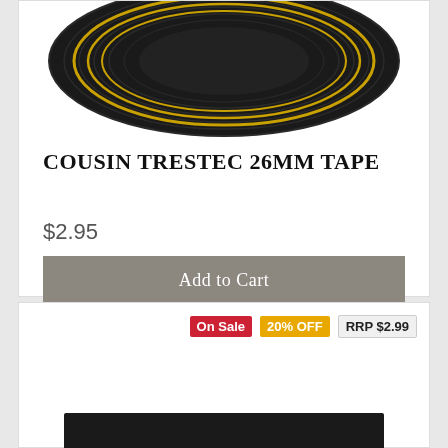[Figure (photo): Black and gold striped tape roll shown from above, cropped at top]
COUSIN TRESTEC 26MM TAPE
$2.95
Add to Cart
On Sale  20% OFF  RRP $2.99
[Figure (photo): Black fabric tape shown as a rectangular swatch]